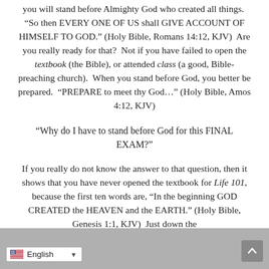you will stand before Almighty God who created all things.  “So then EVERY ONE OF US shall GIVE ACCOUNT OF HIMSELF TO GOD.” (Holy Bible, Romans 14:12, KJV)  Are you really ready for that?  Not if you have failed to open the textbook (the Bible), or attended class (a good, Bible-preaching church).  When you stand before God, you better be prepared.  “PREPARE to meet thy God…” (Holy Bible, Amos 4:12, KJV)
“Why do I have to stand before God for this FINAL EXAM?”
If you really do not know the answer to that question, then it shows that you have never opened the textbook for Life 101, because the first ten words are, “In the beginning GOD CREATED the HEAVEN and the EARTH.” (Holy Bible, Genesis 1:1, KJV)  Just down the
English